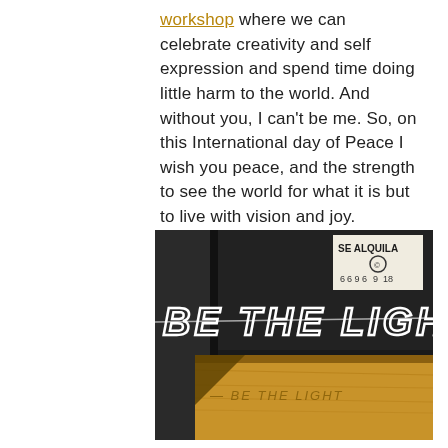workshop where we can celebrate creativity and self expression and spend time doing little harm to the world. And without you, I can't be me. So, on this International day of Peace I wish you peace, and the strength to see the world for what it is but to live with vision and joy.
[Figure (photo): A photo showing a wire art spelling 'BE THE LIGHT' in white letters against a dark background, with a 'SE ALQUILA' sign visible in the upper right corner and a wooden surface below with 'BE THE LIGHT' written on it.]